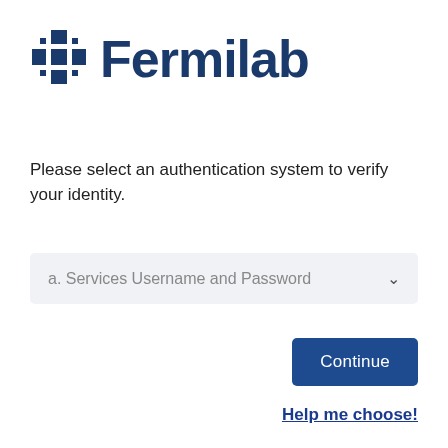[Figure (logo): Fermilab logo with stylized asterisk/snowflake icon in dark blue and the word Fermilab in bold dark blue text]
Please select an authentication system to verify your identity.
a. Services Username and Password
Continue
Help me choose!